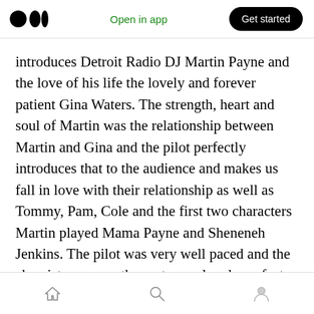Open in app  Get started
introduces Detroit Radio DJ Martin Payne and the love of his life the lovely and forever patient Gina Waters. The strength, heart and soul of Martin was the relationship between Martin and Gina and the pilot perfectly introduces that to the audience and makes us fall in love with their relationship as well as Tommy, Pam, Cole and the first two characters Martin played Mama Payne and Sheneneh Jenkins. The pilot was very well paced and the chemistry among the cast was already perfect from the jump. A must watch.
Home  Search  Profile